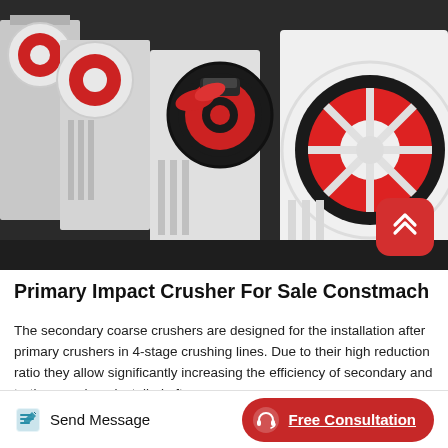[Figure (photo): Photograph of multiple white and red jaw crusher machines lined up in an industrial factory setting. The crushers have large black and red flywheels visible on the right side.]
Primary Impact Crusher For Sale Constmach
The secondary coarse crushers are designed for the installation after primary crushers in 4-stage crushing lines. Due to their high reduction ratio they allow significantly increasing the efficiency of secondary and tertiary crushers installed after